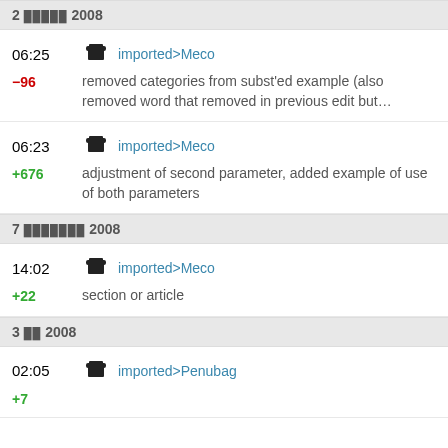2 █████ 2008
06:25 imported>Meco -96 removed categories from subst'ed example (also removed word that removed in previous edit but...
06:23 imported>Meco +676 adjustment of second parameter, added example of use of both parameters
7 ███████ 2008
14:02 imported>Meco +22 section or article
3 ██ 2008
02:05 imported>Penubag +7